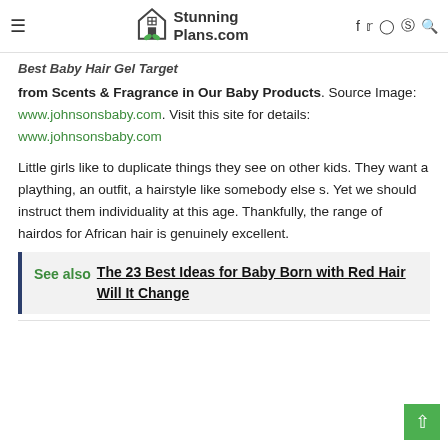StunningPlans.com
Best Baby Hair Gel Target from Scents & Fragrance in Our Baby Products. Source Image: www.johnsonsbaby.com. Visit this site for details: www.johnsonsbaby.com
Little girls like to duplicate things they see on other kids. They want a plaything, an outfit, a hairstyle like somebody else s. Yet we should instruct them individuality at this age. Thankfully, the range of hairdos for African hair is genuinely excellent.
See also  The 23 Best Ideas for Baby Born with Red Hair Will It Change